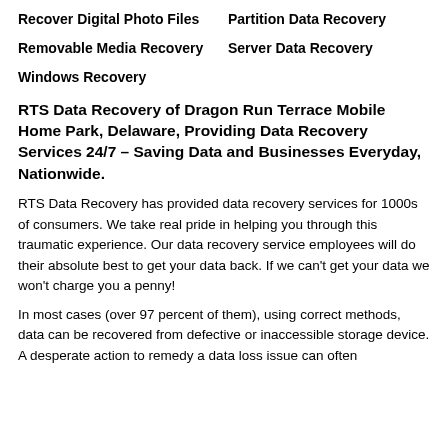Recover Digital Photo Files
Partition Data Recovery
Removable Media Recovery
Server Data Recovery
Windows Recovery
RTS Data Recovery of Dragon Run Terrace Mobile Home Park, Delaware, Providing Data Recovery Services 24/7 – Saving Data and Businesses Everyday, Nationwide.
RTS Data Recovery has provided data recovery services for 1000s of consumers. We take real pride in helping you through this traumatic experience. Our data recovery service employees will do their absolute best to get your data back. If we can't get your data we won't charge you a penny!
In most cases (over 97 percent of them), using correct methods, data can be recovered from defective or inaccessible storage device. A desperate action to remedy a data loss issue can often